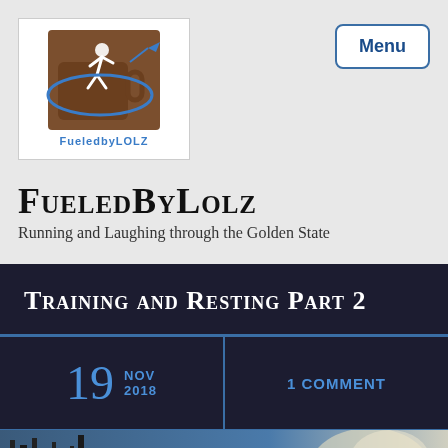[Figure (logo): FueledbyLOLZ logo: brown coffee mug with running figure silhouette and blue airplane/orbit arc, text 'FueledbyLOLZ' in blue below]
FueledByLOLZ
Running and Laughing through the Golden State
Training and Resting Part 2
19 NOV 2018
1 COMMENT
[Figure (photo): Outdoor winter scene with bare trees against a blue sky, photo strip at bottom of page]